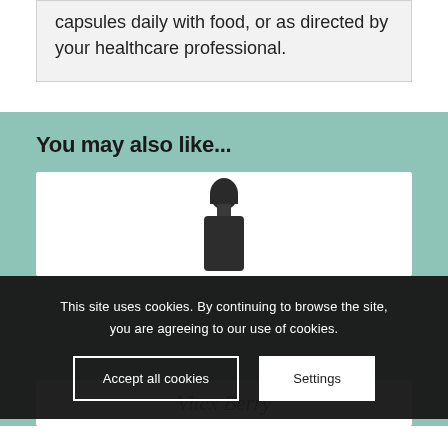As a food supplement, take one to three capsules daily with food, or as directed by your healthcare professional.
You may also like...
[Figure (photo): A dark glass dropper bottle (Vitex Berry product) shown partially, set against a white product card background, with the bottle dropper top visible.]
This site uses cookies. By continuing to browse the site, you are agreeing to our use of cookies.
Vitex Berry